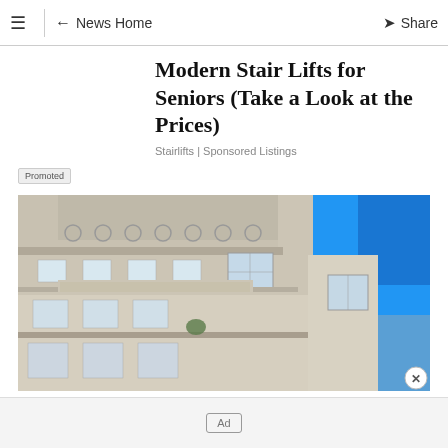☰ | ← News Home   Share
Modern Stair Lifts for Seniors (Take a Look at the Prices)
Stairlifts | Sponsored Listings
Promoted
[Figure (photo): Photograph of a large ornate white/cream stone building facade with classical architectural details, balconies with ironwork, circular medallions, and large windows, shot from below against a bright blue sky.]
Ad